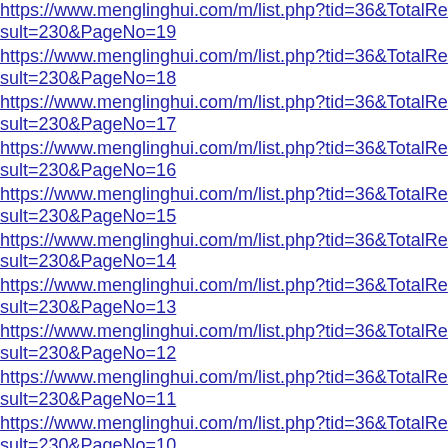https://www.menglinghui.com/m/list.php?tid=36&TotalResult=230&PageNo=19
https://www.menglinghui.com/m/list.php?tid=36&TotalResult=230&PageNo=18
https://www.menglinghui.com/m/list.php?tid=36&TotalResult=230&PageNo=17
https://www.menglinghui.com/m/list.php?tid=36&TotalResult=230&PageNo=16
https://www.menglinghui.com/m/list.php?tid=36&TotalResult=230&PageNo=15
https://www.menglinghui.com/m/list.php?tid=36&TotalResult=230&PageNo=14
https://www.menglinghui.com/m/list.php?tid=36&TotalResult=230&PageNo=13
https://www.menglinghui.com/m/list.php?tid=36&TotalResult=230&PageNo=12
https://www.menglinghui.com/m/list.php?tid=36&TotalResult=230&PageNo=11
https://www.menglinghui.com/m/list.php?tid=36&TotalResult=230&PageNo=10
https://www.menglinghui.com/m/list.php?tid=36&TotalResult=230&PageNo=1
https://www.menglinghui.com/m/list.php?tid=36&TotalResult=198&PageNo=9
https://www.menglinghui.com/m/list.php?